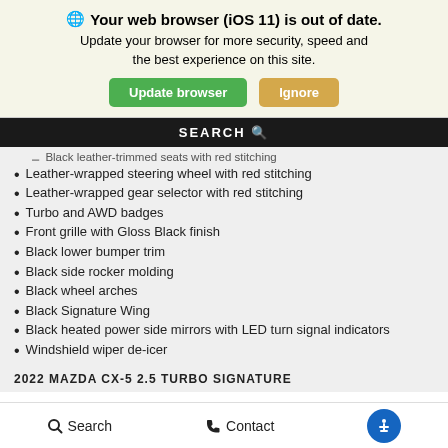🌐 Your web browser (iOS 11) is out of date. Update your browser for more security, speed and the best experience on this site. [Update browser] [Ignore]
SEARCH 🔍
Black leather-trimmed seats with red stitching
Leather-wrapped steering wheel with red stitching
Leather-wrapped gear selector with red stitching
Turbo and AWD badges
Front grille with Gloss Black finish
Black lower bumper trim
Black side rocker molding
Black wheel arches
Black Signature Wing
Black heated power side mirrors with LED turn signal indicators
Windshield wiper de-icer
2022 MAZDA CX-5 2.5 TURBO SIGNATURE
Search   Contact   [Accessibility]